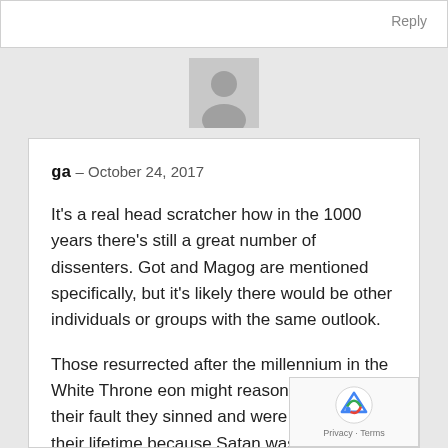Reply
[Figure (illustration): Generic user avatar placeholder - grey silhouette of a person on a light grey background]
ga - October 24, 2017
It's a real head scratcher how in the 1000 years there's still a great number of dissenters. Got and Magog are mentioned specifically, but it's likely there would be other individuals or groups with the same outlook.
Those resurrected after the millennium in the White Throne eon might reason that it's not their fault they sinned and were anti-God in their lifetime because Satan was influencing their minds. They might reason that if they would have had the easy road given to those